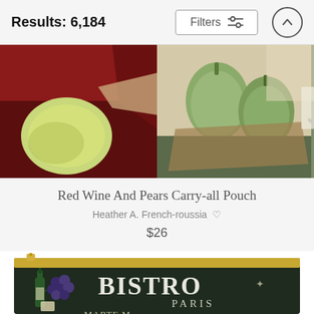Results: 6,184
[Figure (photo): Painting of red wine and pears still life, shown as a carry-all pouch product image]
Red Wine And Pears Carry-all Pouch
Heather A. French-roussia ♡
$26
[Figure (photo): Carry-all pouch with Bistro Paris chalkboard design featuring grapes and wine bottle]